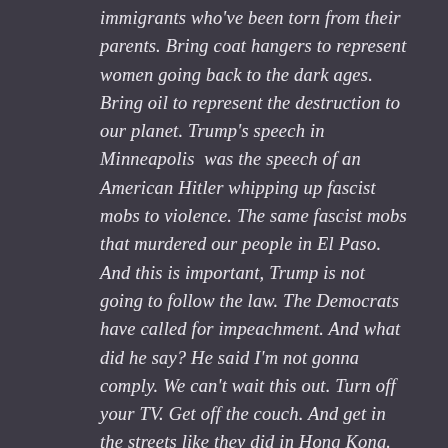immigrants who've been torn from their parents. Bring coat hangers to represent women going back to the dark ages. Bring oil to represent the destruction to our planet. Trump's speech in Minneapolis  was the speech of an American Hitler whipping up fascist mobs to violence. The same fascist mobs that murdered our people in El Paso. And this is important, Trump is not going to follow the law. The Democrats have called for impeachment. And what did he say? He said I'm not gonna comply. We can't wait this out. Turn off your TV. Get off the couch. And get in the streets like they did in Hong Kong. Like they did in Puerto Rico. Puerto Rico showed us how, Trump and Pence must go now"